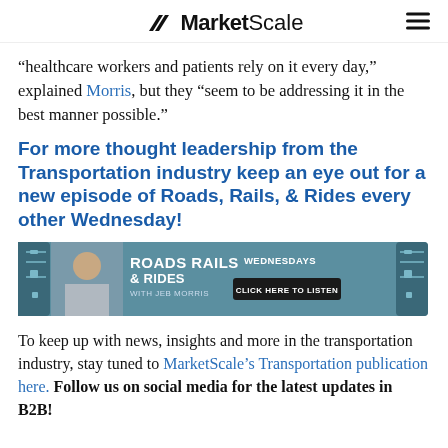MarketScale
“healthcare workers and patients rely on it every day,” explained Morris, but they “seem to be addressing it in the best manner possible.”
For more thought leadership from the Transportation industry keep an eye out for a new episode of Roads, Rails, & Rides every other Wednesday!
[Figure (infographic): Roads Rails & Rides with Jeb Morris podcast banner. Teal/blue background with a man's photo on the left, circuit board imagery on sides, show title in white bold text, Wednesdays label, and a dark 'Click Here To Listen' button.]
To keep up with news, insights and more in the transportation industry, stay tuned to MarketScale’s Transportation publication here. Follow us on social media for the latest updates in B2B!